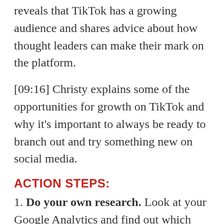reveals that TikTok has a growing audience and shares advice about how thought leaders can make their mark on the platform.
[09:16] Christy explains some of the opportunities for growth on TikTok and why it's important to always be ready to branch out and try something new on social media.
ACTION STEPS:
1. Do your own research. Look at your Google Analytics and find out which social media platforms are directing traffic to your website. If you have a platform that is doing most of the heavy lifting, focus